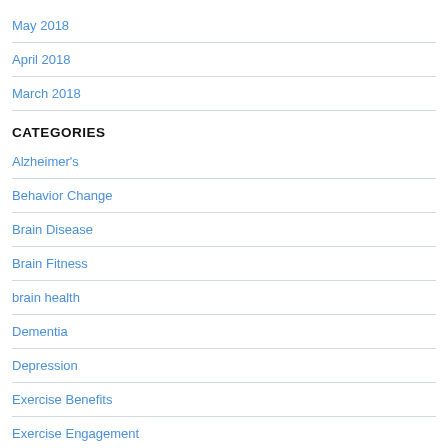May 2018
April 2018
March 2018
CATEGORIES
Alzheimer's
Behavior Change
Brain Disease
Brain Fitness
brain health
Dementia
Depression
Exercise Benefits
Exercise Engagement